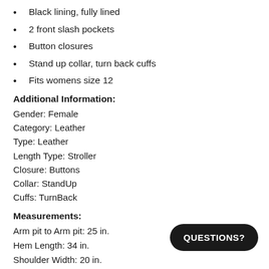Black lining, fully lined
2 front slash pockets
Button closures
Stand up collar, turn back cuffs
Fits womens size 12
Additional Information:
Gender: Female
Category: Leather
Type: Leather
Length Type: Stroller
Closure: Buttons
Collar: StandUp
Cuffs: TurnBack
Measurements:
Arm pit to Arm pit: 25 in.
Hem Length: 34 in.
Shoulder Width: 20 in.
QUESTIONS?